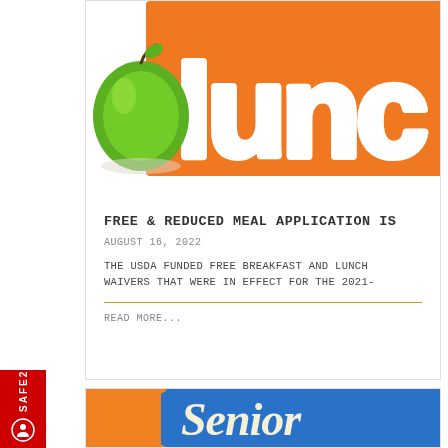[Figure (illustration): Colorful lunch-themed graphic with orange background showing the word 'lunc' in white bubble letters and a green apple on the left side]
FREE & REDUCED MEAL APPLICATION IS
August 16, 2022
The USDA funded free breakfast and lunch waivers that were in effect for the 2021-
Read More...
[Figure (illustration): Colorful graphic with orange and blue background showing the word 'Senior' in cursive white/cream letters]